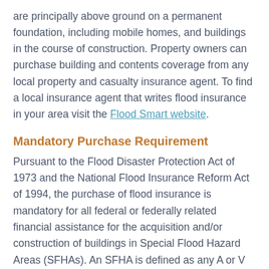are principally above ground on a permanent foundation, including mobile homes, and buildings in the course of construction. Property owners can purchase building and contents coverage from any local property and casualty insurance agent. To find a local insurance agent that writes flood insurance in your area visit the Flood Smart website.
Mandatory Purchase Requirement
Pursuant to the Flood Disaster Protection Act of 1973 and the National Flood Insurance Reform Act of 1994, the purchase of flood insurance is mandatory for all federal or federally related financial assistance for the acquisition and/or construction of buildings in Special Flood Hazard Areas (SFHAs). An SFHA is defined as any A or V flood zone on a Federal Emergency Management Agency (FEMA) Flood Insurance Rate Map (FIRM).
The mandatory purchase requirement also applies to